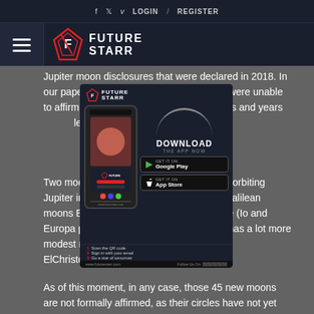f  t  v  LOGIN  /  REGISTER
[Figure (logo): FutureStarr logo with hamburger menu icon]
Jupiter moon disclosures that were declared in 2018. In our paper, we additionally noticed that we were unable to affirm and observe them for the months and years to circle their circles.
[Figure (screenshot): FutureStarr app advertisement overlay with download buttons for Google Play and App Store, phone mockup, QR code, and steps to get started]
Two moons with b... net of moons orbiting Jupiter in... table for its four biggest Galilean moons Europa, Io, Callisto, and Ganymede (Io and Europa portrayed here), yet it additionally has a lot more modest moons also. Picture by means of ElChristou/Wikimedia Commons.
As of this moment, in any case, those 45 new moons are not formally affirmed, as their circles have not yet been exactly decided. Sheppard said: